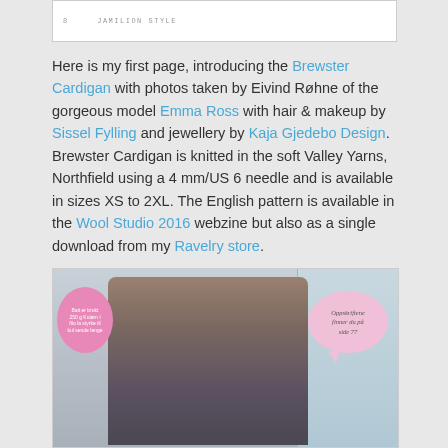[Figure (photo): Top portion of a magazine or book image, partially visible, showing small text and a photo snippet]
Here is my first page, introducing the Brewster Cardigan with photos taken by Eivind Røhne of the gorgeous model Emma Ross with hair & makeup by Sissel Fylling and jewellery by Kaja Gjedebo Design. Brewster Cardigan is knitted in the soft Valley Yarns, Northfield using a 4 mm/US 6 needle and is available in sizes XS to 2XL. The English pattern is available in the Wool Studio 2016 webzine but also as a single download from my Ravelry store.
[Figure (photo): Magazine page showing a red-haired female model wearing a grey knitted cardigan, with two speech bubble overlays in pink. Left bubble contains Norwegian text about yarn. Right bubble reads 'Oppskriftene finner du på side 77' in italic script.]